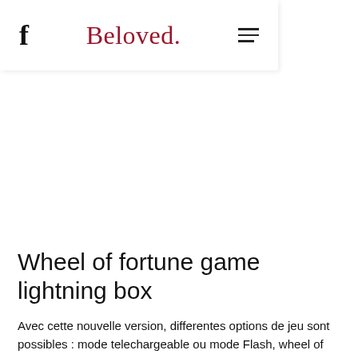f  Beloved.  ≡
Wheel of fortune game lightning box
Avec cette nouvelle version, differentes options de jeu sont possibles : mode telechargeable ou mode Flash, wheel of fortune game lightning box. L'existence des